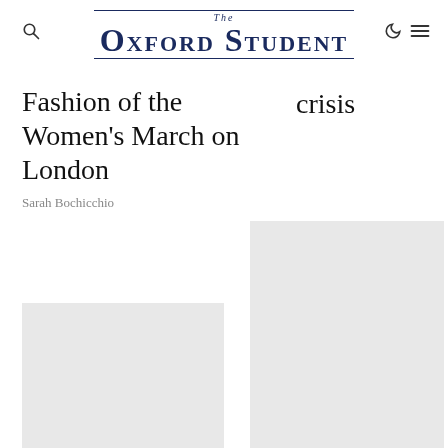The Oxford Student
Fashion of the Women's March on London crisis
Sarah Bochicchio
[Figure (photo): Gray placeholder image on the left side]
[Figure (photo): Gray placeholder image on the right side, taller and starting higher]